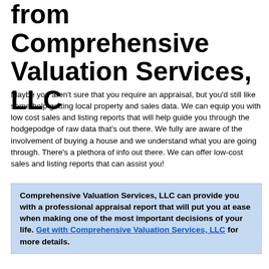from Comprehensive Valuation Services, LLC
Maybe you aren't sure that you require an appraisal, but you'd still like some help getting local property and sales data. We can equip you with low cost sales and listing reports that will help guide you through the hodgepodge of raw data that's out there. We fully are aware of the involvement of buying a house and we understand what you are going through. There's a plethora of info out there. We can offer low-cost sales and listing reports that can assist you!
Comprehensive Valuation Services, LLC can provide you with a professional appraisal report that will put you at ease when making one of the most important decisions of your life. Get with Comprehensive Valuation Services, LLC for more details.
Standard operating procedure for Comprehensive Valuation Services, LLC includes...
Incredibly fast response to your request: You will receive personalized info from Comprehensive Valuation Services, LLC for your request. All you need to do is just tell us exactly what you're going through and we'll make recommendations.
Quick turnaround time: You'll hear back within one business...